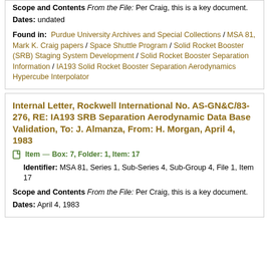Scope and Contents From the File: Per Craig, this is a key document.
Dates: undated
Found in: Purdue University Archives and Special Collections / MSA 81, Mark K. Craig papers / Space Shuttle Program / Solid Rocket Booster (SRB) Staging System Development / Solid Rocket Booster Separation Information / IA193 Solid Rocket Booster Separation Aerodynamics Hypercube Interpolator
Internal Letter, Rockwell International No. AS-GN&C/83-276, RE: IA193 SRB Separation Aerodynamic Data Base Validation, To: J. Almanza, From: H. Morgan, April 4, 1983
Item — Box: 7, Folder: 1, Item: 17
Identifier: MSA 81, Series 1, Sub-Series 4, Sub-Group 4, File 1, Item 17
Scope and Contents From the File: Per Craig, this is a key document.
Dates: April 4, 1983